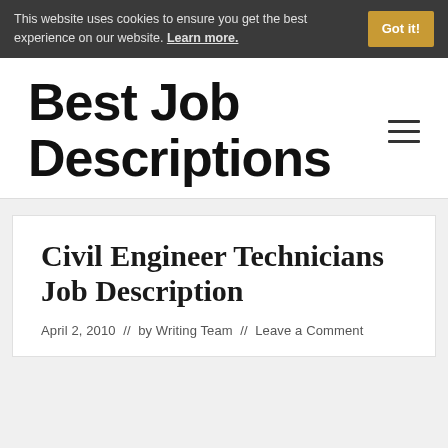This website uses cookies to ensure you get the best experience on our website. Learn more. Got it!
Best Job Descriptions
Civil Engineer Technicians Job Description
April 2, 2010  //  by Writing Team  //  Leave a Comment